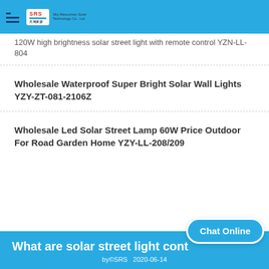SRS Sky Resources Solar Technology Co., Ltd
120W high brightness solar street light with remote control YZN-LL-804
Wholesale Waterproof Super Bright Solar Wall Lights YZY-ZT-081-2106Z
Wholesale Led Solar Street Lamp 60W Price Outdoor For Road Garden Home YZY-LL-208/209
What are solar street light cont...
by©SRS   2020-06-14